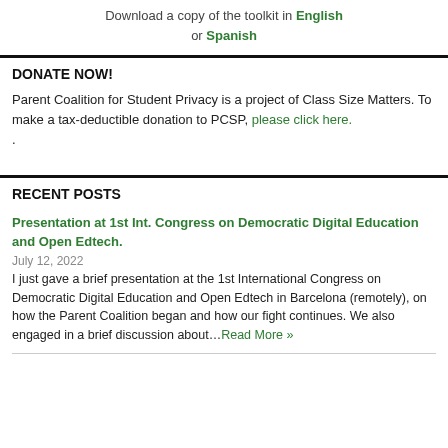Download a copy of the toolkit in English or Spanish
DONATE NOW!
Parent Coalition for Student Privacy is a project of Class Size Matters. To make a tax-deductible donation to PCSP, please click here.
.
RECENT POSTS
Presentation at 1st Int. Congress on Democratic Digital Education and Open Edtech.
July 12, 2022
I just gave a brief presentation at the 1st International Congress on Democratic Digital Education and Open Edtech in Barcelona (remotely), on how the Parent Coalition began and how our fight continues. We also engaged in a brief discussion about…Read More »